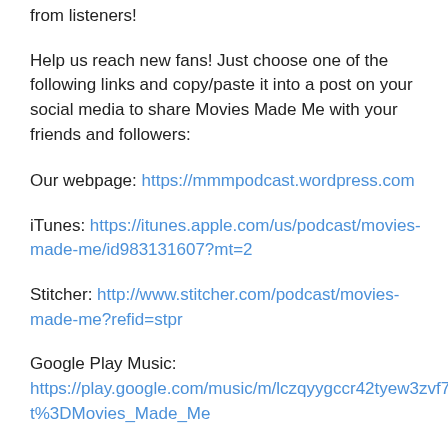from listeners!
Help us reach new fans!  Just choose one of the following links and copy/paste it into a post on your social media to share Movies Made Me with your friends and followers:
Our webpage: https://mmmpodcast.wordpress.com
iTunes: https://itunes.apple.com/us/podcast/movies-made-me/id983131607?mt=2
Stitcher: http://www.stitcher.com/podcast/movies-made-me?refid=stpr
Google Play Music:
https://play.google.com/music/m/lczqyygccr42tyew3zvf7ugecvu?t%3DMovies_Made_Me
iHeartRadio:  http://www.iheart.com/show/263-Movies-